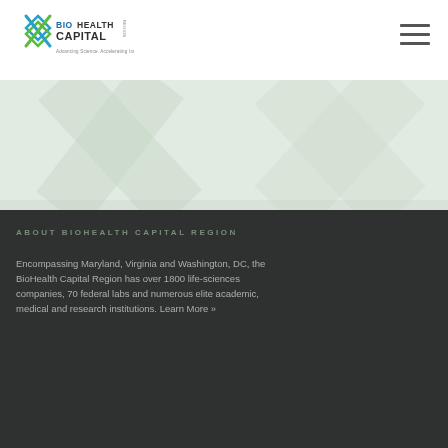[Figure (logo): BioHealth Capital Region logo with X symbol and tagline 'Advancing Science. Accelerating Innovation.']
[Figure (other): Hamburger menu icon (three horizontal lines)]
[Figure (other): Hero banner area with diagonal X pattern in light green/grey tones]
ABOUT BIOHEALTH CAPITAL REGION
Encompassing Maryland, Virginia and Washington, DC, the BioHealth Capital Region has over 1800 life-sciences companies, 70 federal labs and numerous elite academic, medical and research institutions. Learn More »